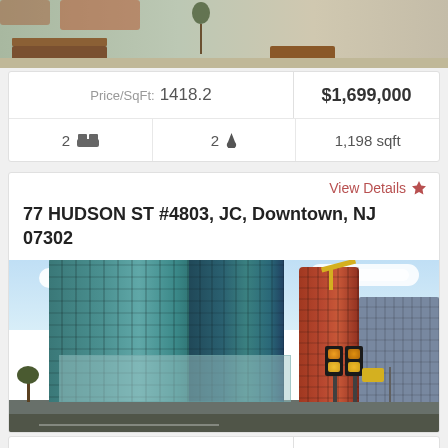[Figure (photo): Aerial/rooftop view of an outdoor plaza with planters and benches]
| Price/SqFt | Price |
| --- | --- |
| Price/SqFt: 1418.2 | $1,699,000 |
| 2 beds | 2 baths | 1,198 sqft |  |
View Details ★
77 HUDSON ST #4803, JC, Downtown, NJ 07302
[Figure (photo): Street-level photo of 77 Hudson St, a modern glass skyscraper in Jersey City with construction crane visible, traffic lights in foreground]
| Price/SqFt | Price |
| --- | --- |
| Price/SqFt: 1251.29 | $1,698,000 |